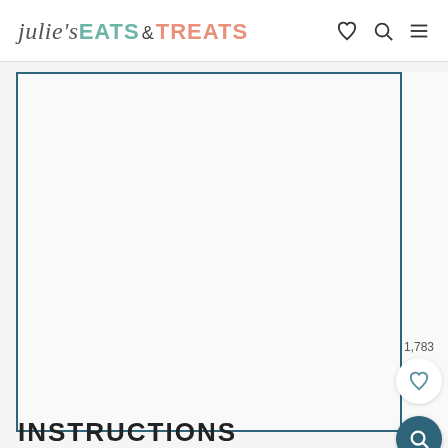julie's EATS & TREATS
[Figure (screenshot): Large light gray content card area with teal border on left and bottom, mostly blank/white interior]
1,783
INSTRUCTIONS